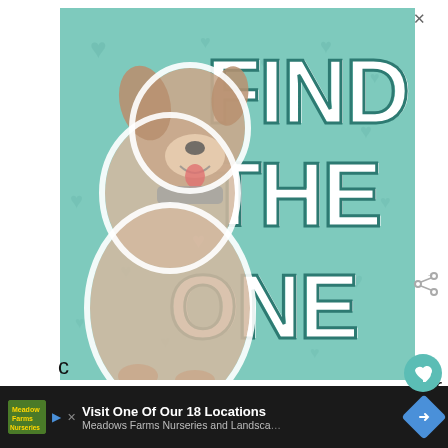[Figure (illustration): Advertisement banner with teal background showing a Great Dane dog and bold white text reading FIND THE ONE. An X close button in top right corner.]
If you follow TUL on Facebook, you may have seen the Read This, Not That graphic.
For readers in a time crunch, if you have to
[Figure (infographic): What's Next widget showing Book Buzzed: May 2020... thumbnail]
[Figure (advertisement): Bottom ad bar: Visit One Of Our 18 Locations - Meadows Farms Nurseries and Landscape]